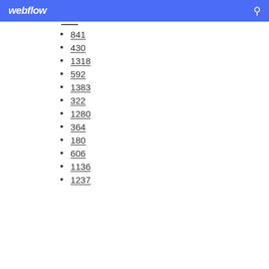webflow
841
430
1318
592
1383
322
1280
364
180
606
1136
1237